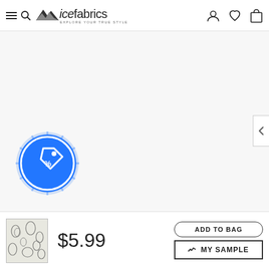[Figure (screenshot): Ice Fabrics e-commerce website header with hamburger/search icon, mountain logo, and right-side user/wishlist/bag icons]
[Figure (illustration): Large product image area (mostly white/light background) with a blue circular discount badge showing a price-tag percent icon in the lower left]
[Figure (photo): Small thumbnail of a floral fabric pattern (black floral print on white/gray background)]
$5.99
ADD TO BAG
MY SAMPLE